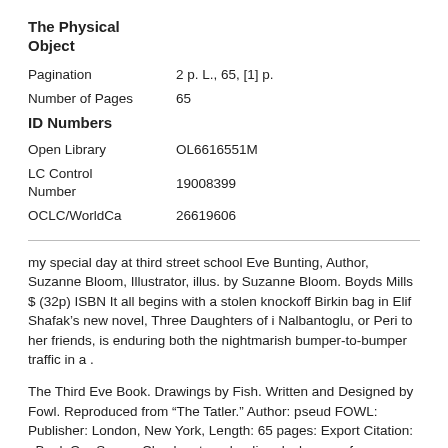The Physical Object
Pagination    2 p. L., 65, [1] p.
Number of Pages    65
ID Numbers
Open Library    OL6616551M
LC Control Number    19008399
OCLC/WorldCa    26619606
my special day at third street school Eve Bunting, Author, Suzanne Bloom, Illustrator, illus. by Suzanne Bloom. Boyds Mills $ (32p) ISBN It all begins with a stolen knockoff Birkin bag in Elif Shafak’s new novel, Three Daughters of i Nalbantoglu, or Peri to her friends, is enduring both the nightmarish bumper-to-bumper traffic in a .
The Third Eve Book. Drawings by Fish. Written and Designed by Fowl. Reproduced from "The Tatler." Author: pseud FOWL: Publisher: London, New York, Length: 65 pages: Export Citation: . Book Our Space. Check out our loading dock space for your upcoming get